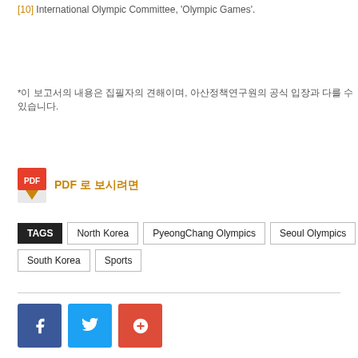[10] International Olympic Committee, 'Olympic Games'.
*이 보고서의 내용은 집필자의 견해이며, 아산정책연구원의 공식 입장과 다를 수 있습니다.
[Figure (other): PDF download icon with link text 'PDF 로 보시려면']
TAGS  North Korea  PyeongChang Olympics  Seoul Olympics  South Korea  Sports
[Figure (other): Social media share buttons: Facebook, Twitter, Google+]